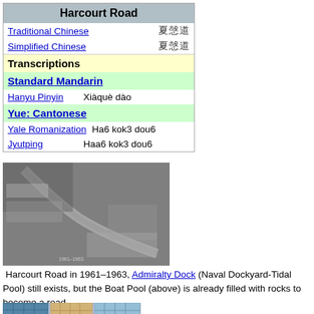| Harcourt Road |
| --- |
| Traditional Chinese | 夏愨道 |
| Simplified Chinese | 夏愨道 |
| Transcriptions |  |
| Standard Mandarin |  |
| Hanyu Pinyin | Xiàquè dào |
| Yue: Cantonese |  |
| Yale Romanization | Ha6 kok3 dou6 |
| Jyutping | Haa6 kok3 dou6 |
[Figure (photo): Aerial black and white photograph of Harcourt Road in 1961-1963, showing Admiralty Dock (Naval Dockyard-Tidal Pool) and the Boat Pool already filled with rocks to become a road.]
Harcourt Road in 1961–1963, Admiralty Dock (Naval Dockyard-Tidal Pool) still exists, but the Boat Pool (above) is already filled with rocks to become a road.
[Figure (photo): Partial view of modern glass skyscrapers along Harcourt Road.]